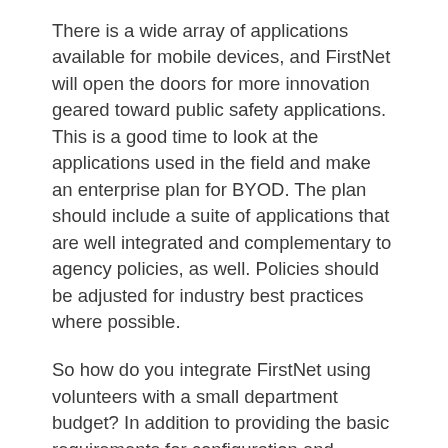There is a wide array of applications available for mobile devices, and FirstNet will open the doors for more innovation geared toward public safety applications. This is a good time to look at the applications used in the field and make an enterprise plan for BYOD. The plan should include a suite of applications that are well integrated and complementary to agency policies, as well. Policies should be adjusted for industry best practices where possible.
So how do you integrate FirstNet using volunteers with a small department budget? In addition to providing the basic requirements for configuration and provisioning, the partner (RFP awardee) could also provide device tracking and software updates in their